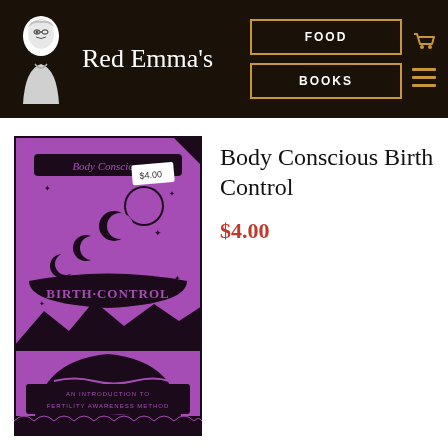Red Emma's | FOOD | BOOKS
[Figure (illustration): Book cover of 'Body Conscious Birth Control' — purple background with black illustrations of moon phases, mountains, a banner reading 'Birth Control', decorative text 'Body Conscious' at top, and subtitle 'An Introduction to Fertility Awareness Method' at bottom. A price sticker reads $4.00.]
Body Conscious Birth Control
$4.00